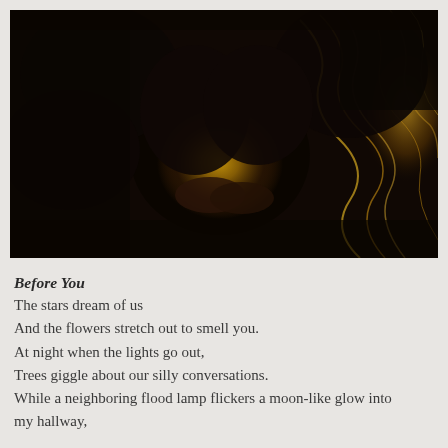[Figure (photo): Dark silhouette photograph of two people leaning in close together (nearly kissing), with golden bokeh light streaks in the background creating a romantic atmosphere.]
Before You
The stars dream of us
And the flowers stretch out to smell you.
At night when the lights go out,
Trees giggle about our silly conversations.
While a neighboring flood lamp flickers a moon-like glow into my hallway,